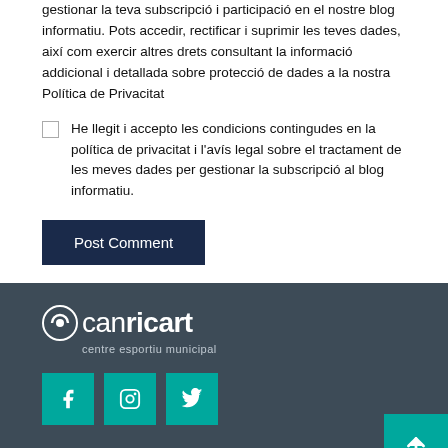gestionar la teva subscripció i participació en el nostre blog informatiu. Pots accedir, rectificar i suprimir les teves dades, així com exercir altres drets consultant la informació addicional i detallada sobre protecció de dades a la nostra Política de Privacitat
He llegit i accepto les condicions contingudes en la política de privacitat i l'avís legal sobre el tractament de les meves dades per gestionar la subscripció al blog informatiu.
Post Comment
[Figure (logo): Can Ricart logo — white text on dark background with circular icon, subtitle 'centre esportiu municipal']
[Figure (infographic): Social media icons: Facebook, Instagram, Twitter (teal square buttons) and a scroll-to-top arrow button on the right]